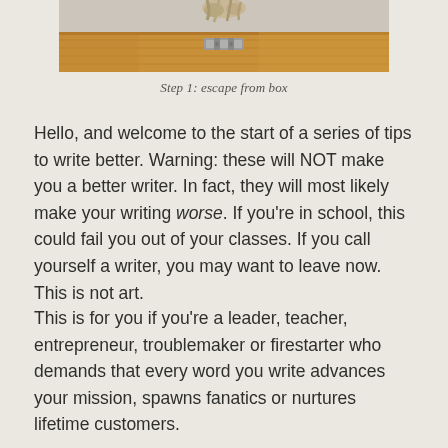[Figure (photo): Partial view of a wooden box or crate with rope and a metal hinge visible, cropped at the top of the page]
Step 1: escape from box
Hello, and welcome to the start of a series of tips to write better. Warning: these will NOT make you a better writer. In fact, they will most likely make your writing worse. If you're in school, this could fail you out of your classes. If you call yourself a writer, you may want to leave now. This is not art.
This is for you if you're a leader, teacher, entrepreneur, troublemaker or firestarter who demands that every word you write advances your mission, spawns fanatics or nurtures lifetime customers.